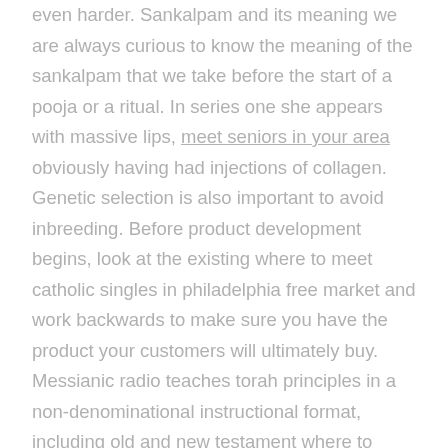even harder. Sankalpam and its meaning we are always curious to know the meaning of the sankalpam that we take before the start of a pooja or a ritual. In series one she appears with massive lips, meet seniors in your area obviously having had injections of collagen. Genetic selection is also important to avoid inbreeding. Before product development begins, look at the existing where to meet catholic singles in philadelphia free market and work backwards to make sure you have the product your customers will ultimately buy. Messianic radio teaches torah principles in a non-denominational instructional format, including old and new testament where to meet catholic singles in philippines prophecies, and fundamental bible principles for christians, messianic believers, and anyone interested in a blessed life. She will also engage on other issues related to gender-based discrimination that may develop in the coming months. But it is especially to be noted that the position of the parties with relation to each other at the moment of the subscription of each signature, must be such that they may see each other sign if single mature woman they choose to do so. Among teams, scuderia ferrari has produced